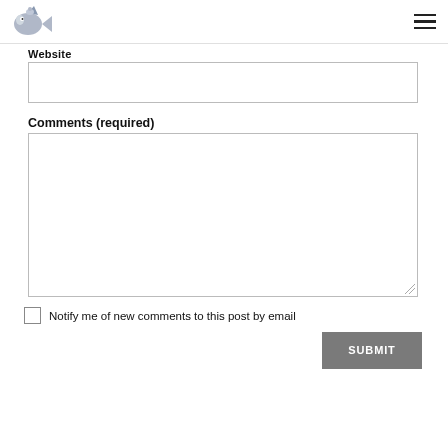Website
Comments (required)
Notify me of new comments to this post by email
SUBMIT